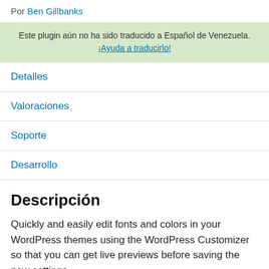Por Ben Gillbanks
Este plugin aún no ha sido traducido a Español de Venezuela. ¡Ayuda a traducirlo!
Detalles
Valoraciones
Soporte
Desarrollo
Descripción
Quickly and easily edit fonts and colors in your WordPress themes using the WordPress Customizer so that you can get live previews before saving the new settings.